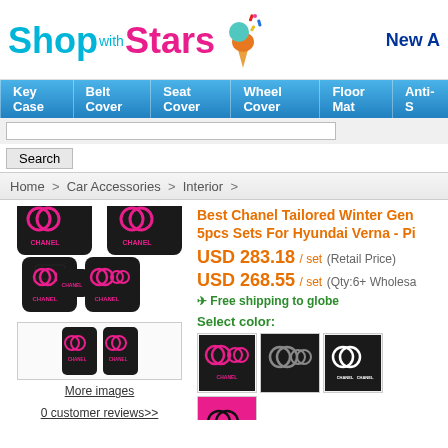[Figure (logo): ShopWithStars logo with colorful ice cream cone icon]
New A
[Figure (screenshot): Navigation bar with links: Key Case, Belt Cover, Seat Cover, Wheel Cover, Floor Mat, Anti-S]
Search
Home > Car Accessories > Interior >
[Figure (photo): Main product photo of black and pink Chanel car floor mats set (5pcs)]
[Figure (photo): Thumbnail image of Chanel floor mat set]
More images
0 customer reviews>>
Best Chanel Tailored Winter Gen 5pcs Sets For Hyundai Verna - Pi
USD 283.18 / set (Retail Price)
USD 268.55 / set (Qty:6+ Wholesa
✈ Free shipping to globe
Select color:
[Figure (photo): Color swatch 1: black with pink Chanel logo floor mat set]
[Figure (photo): Color swatch 2: black floor mat set]
[Figure (photo): Color swatch 3: black and white Chanel floor mat set]
[Figure (photo): Color swatch 4: pink/hot pink floor mat set]
Select size:
One Size